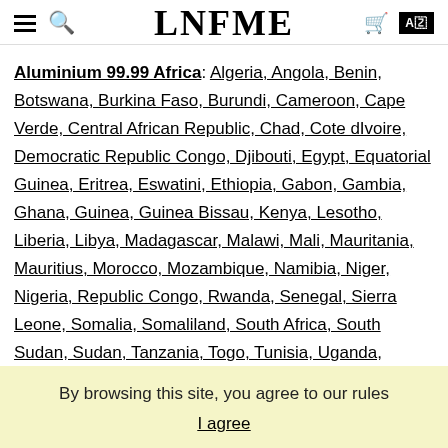LNFME
Aluminium 99.99 Africa: Algeria, Angola, Benin, Botswana, Burkina Faso, Burundi, Cameroon, Cape Verde, Central African Republic, Chad, Cote dIvoire, Democratic Republic Congo, Djibouti, Egypt, Equatorial Guinea, Eritrea, Eswatini, Ethiopia, Gabon, Gambia, Ghana, Guinea, Guinea Bissau, Kenya, Lesotho, Liberia, Libya, Madagascar, Malawi, Mali, Mauritania, Mauritius, Morocco, Mozambique, Namibia, Niger, Nigeria, Republic Congo, Rwanda, Senegal, Sierra Leone, Somalia, Somaliland, South Africa, South Sudan, Sudan, Tanzania, Togo, Tunisia, Uganda, Zambia, Zimbabwe,
By browsing this site, you agree to our rules
I agree